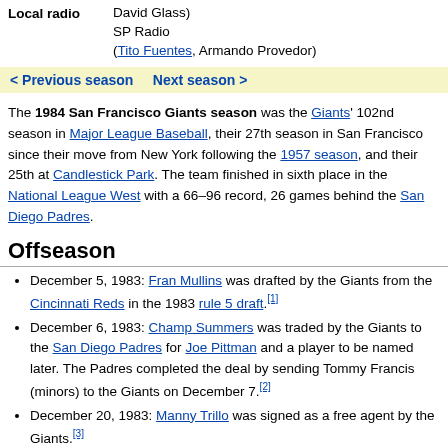Local radio David Glass) SP Radio (Tito Fuentes, Armando Provedor)
< Previous season   Next season >
The 1984 San Francisco Giants season was the Giants' 102nd season in Major League Baseball, their 27th season in San Francisco since their move from New York following the 1957 season, and their 25th at Candlestick Park. The team finished in sixth place in the National League West with a 66–96 record, 26 games behind the San Diego Padres.
Offseason
December 5, 1983: Fran Mullins was drafted by the Giants from the Cincinnati Reds in the 1983 rule 5 draft.[1]
December 6, 1983: Champ Summers was traded by the Giants to the San Diego Padres for Joe Pittman and a player to be named later. The Padres completed the deal by sending Tommy Francis (minors) to the Giants on December 7.[2]
December 20, 1983: Manny Trillo was signed as a free agent by the Giants.[3]
January 17, 1984: Mackey Sasser was drafted by the Giants